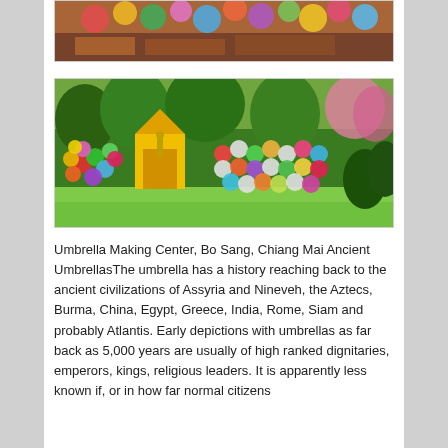[Figure (photo): Top portion of a colorful umbrella/parasol display at Bo Sang, Chiang Mai — colorful decorative parasols hanging or displayed in a market setting]
[Figure (photo): Outdoor garden scene at Umbrella Making Center, Bo Sang, Chiang Mai — a yellow shrine/temple structure surrounded by rows of colorful decorative parasols/umbrellas displayed on racks, lush green trees and pink flowering trees in background, green lawn in foreground]
Umbrella Making Center, Bo Sang, Chiang Mai Ancient UmbrellasThe umbrella has a history reaching back to the ancient civilizations of Assyria and Nineveh, the Aztecs, Burma, China, Egypt, Greece, India, Rome, Siam and probably Atlantis. Early depictions with umbrellas as far back as 5,000 years are usually of high ranked dignitaries, emperors, kings, religious leaders. It is apparently less known if, or in how far normal citizens